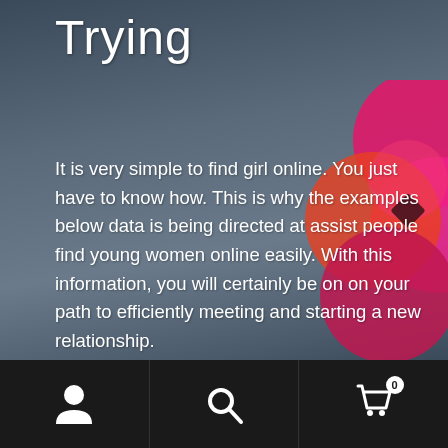Trying
It is very simple to find girl online. You just have to know how. This is why the examples below data is being directed at assist people find young women online easily. With this information, you will certainly be on on your path to efficiently meeting and starting a new relationship.
Initial, you should be very mixed up in internet dating community, more than once every day, no less. The more one is energetic, https://democratic.ussl.co.il/sensible-systems-in-getdate-the-best-routes/ the much more likely you have of locating a girl for your needs, regardless of difficult the work might be. Second, you should be very
[Figure (illustration): Decorative overlapping circles in pink, magenta, orange, and dark red color scheme positioned at the right side of the page]
Navigation bar with user icon, search icon, and shopping cart icon with badge showing 0